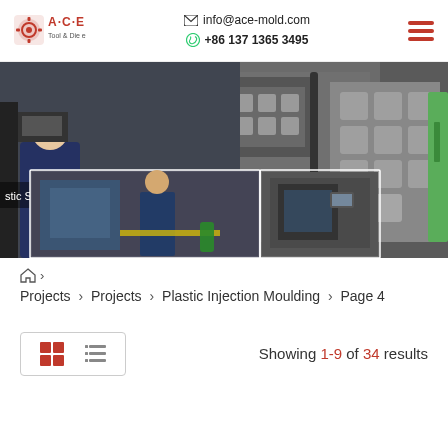info@ace-mold.com | +86 137 1365 3495
[Figure (photo): Industrial CNC machines and factory floor workers in a manufacturing facility. Composite of multiple photos showing machinery, control panels, and an operator.]
⌂ > Projects > Projects > Plastic Injection Moulding > Page 4
Showing 1-9 of 34 results